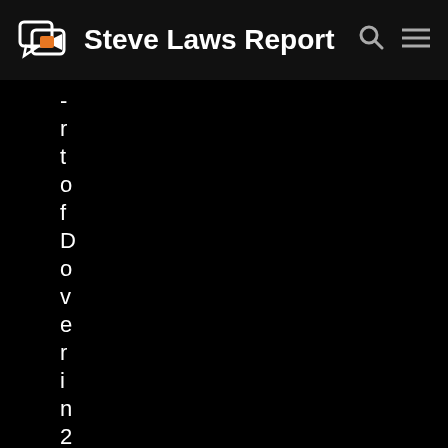Steve Laws Report
-
r
t
o
f
D
o
v
e
r
i
n
2